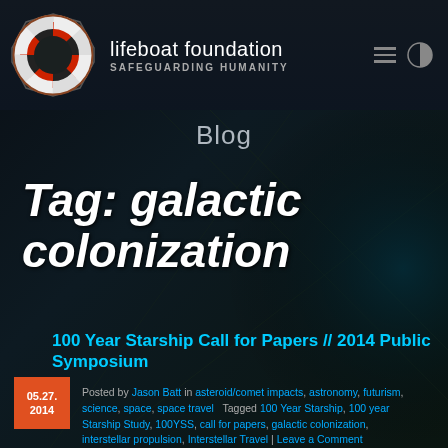[Figure (logo): Lifeboat Foundation logo: lifesaver ring with red stripes, next to text 'lifeboat foundation' and 'SAFEGUARDING HUMANITY' with hamburger menu and half-circle icon]
Blog
Tag: galactic colonization
100 Year Starship Call for Papers // 2014 Public Symposium
Posted by Jason Batt in asteroid/comet impacts, astronomy, futurism, science, space, space travel   Tagged 100 Year Starship, 100 year Starship Study, 100YSS, call for papers, galactic colonization, interstellar propulsion, Interstellar Travel | Leave a Comment